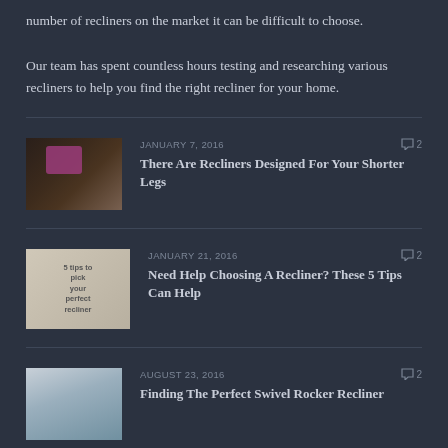number of recliners on the market it can be difficult to choose.

Our team has spent countless hours testing and researching various recliners to help you find the right recliner for your home.
[Figure (photo): Dark leather recliner chair with purple/magenta pillow]
JANUARY 7, 2016    2
There Are Recliners Designed For Your Shorter Legs
[Figure (photo): Graphic with text '5 tips to pick your perfect recliner' with recliner chairs]
JANUARY 21, 2016    2
Need Help Choosing A Recliner? These 5 Tips Can Help
[Figure (photo): Grey swivel rocker recliner chair in a room]
AUGUST 23, 2016    2
Finding The Perfect Swivel Rocker Recliner